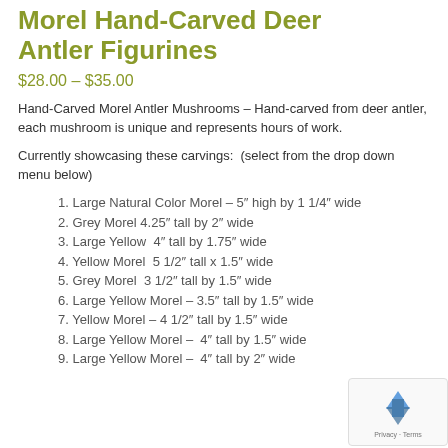Morel Hand-Carved Deer Antler Figurines
$28.00 – $35.00
Hand-Carved Morel Antler Mushrooms – Hand-carved from deer antler, each mushroom is unique and represents hours of work.
Currently showcasing these carvings:  (select from the drop down menu below)
1. Large Natural Color Morel – 5″ high by 1 1/4″ wide
2. Grey Morel 4.25″ tall by 2″ wide
3. Large Yellow  4″ tall by 1.75″ wide
4. Yellow Morel  5 1/2″ tall x 1.5″ wide
5. Grey Morel  3 1/2″ tall by 1.5″ wide
6. Large Yellow Morel – 3.5″ tall by 1.5″ wide
7. Yellow Morel – 4 1/2″ tall by 1.5″ wide
8. Large Yellow Morel –  4″ tall by 1.5″ wide
9. Large Yellow Morel –  4″ tall by 2″ wide